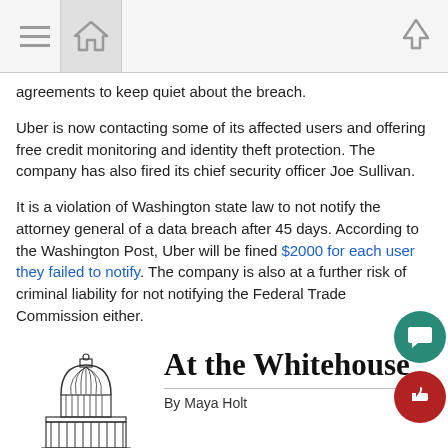[Navigation toolbar with menu, home, and up icons]
agreements to keep quiet about the breach.
Uber is now contacting some of its affected users and offering free credit monitoring and identity theft protection. The company has also fired its chief security officer Joe Sullivan.
It is a violation of Washington state law to not notify the attorney general of a data breach after 45 days. According to the Washington Post, Uber will be fined $2000 for each user they failed to notify. The company is also at a further risk of criminal liability for not notifying the Federal Trade Commission either.
[Figure (illustration): Line drawing of the US Capitol building dome]
At the Whitehouse
By Maya Holt